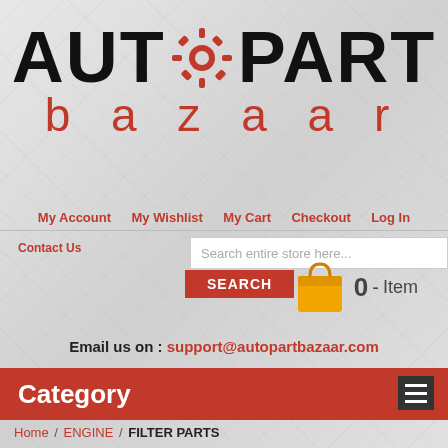[Figure (logo): AutoPart Bazaar logo with gear icon replacing the O in AUTO, black uppercase text with red lowercase bazaar text below]
My Account   My Wishlist   My Cart   Checkout   Log In
Contact Us
Search entire store here...
SEARCH
[Figure (illustration): Orange shopping bag icon with 0 - Item text]
Email us on : support@autopartbazaar.com
Category
Home / ENGINE / FILTER PARTS